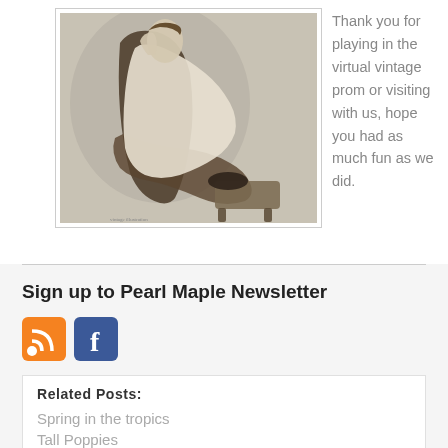[Figure (photo): Vintage black and white illustration of a woman reclining in an armchair with a footstool, head tilted back, wearing a light dress.]
Thank you for playing in the virtual vintage prom or visiting with us, hope you had as much fun as we did.
Sign up to Pearl Maple Newsletter
[Figure (logo): RSS feed icon (orange) and Facebook icon (blue)]
Related Posts:
Spring in the tropics
Tall Poppies